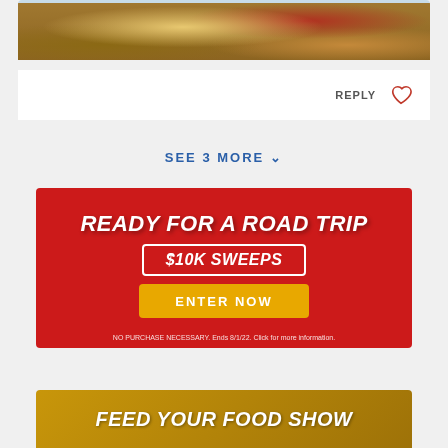[Figure (photo): Close-up photo of a baked food dish with crumble topping in a blue bowl]
REPLY ♡
SEE 3 MORE ∨
[Figure (infographic): Red advertisement banner: READY FOR A ROAD TRIP $10K SWEEPS ENTER NOW. NO PURCHASE NECESSARY. Ends 8/1/22. Click for more information.]
[Figure (infographic): Gold/tan advertisement banner: FEED YOUR FOOD SHOW (partial, cropped at bottom of page)]